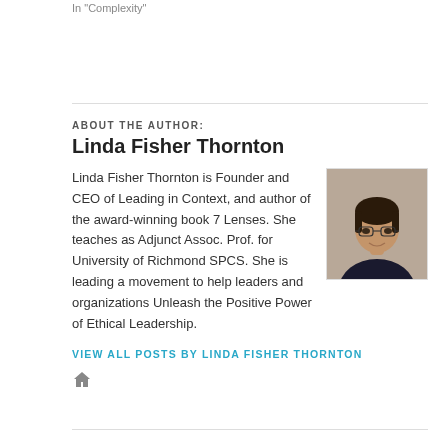In "Complexity"
ABOUT THE AUTHOR:
Linda Fisher Thornton

Linda Fisher Thornton is Founder and CEO of Leading in Context, and author of the award-winning book 7 Lenses. She teaches as Adjunct Assoc. Prof. for University of Richmond SPCS. She is leading a movement to help leaders and organizations Unleash the Positive Power of Ethical Leadership.
[Figure (photo): Headshot photo of Linda Fisher Thornton, a woman with short dark hair and glasses, wearing a dark jacket, against a neutral background.]
VIEW ALL POSTS BY LINDA FISHER THORNTON